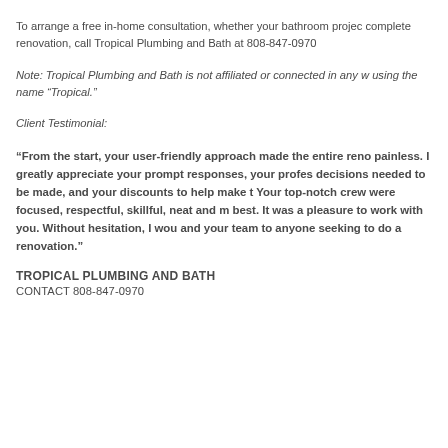To arrange a free in-home consultation, whether your bathroom project is a simple repair or complete renovation, call Tropical Plumbing and Bath at 808-847-0970.
Note: Tropical Plumbing and Bath is not affiliated or connected in any way with other companies using the name “Tropical.”
Client Testimonial:
“From the start, your user-friendly approach made the entire renovation process virtually painless. I greatly appreciate your prompt responses, your professionalism when difficult decisions needed to be made, and your discounts to help make the project work financially. Your top-notch crew were focused, respectful, skillful, neat and motivated to do their very best. It was a pleasure to work with you. Without hesitation, I would recommend both you and your team to anyone seeking to do a renovation.”
TROPICAL PLUMBING AND BATH
CONTACT 808-847-0970